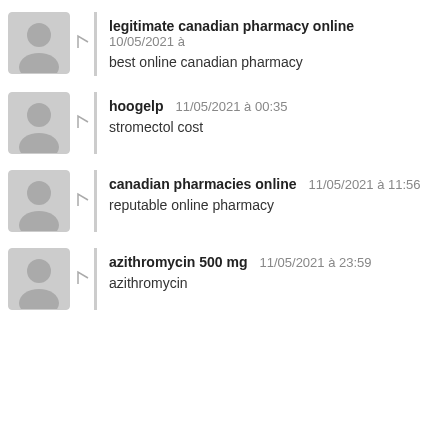legitimate canadian pharmacy online — 10/05/2021 à
best online canadian pharmacy
hoogelp — 11/05/2021 à 00:35
stromectol cost
canadian pharmacies online — 11/05/2021 à 11:56
reputable online pharmacy
azithromycin 500 mg — 11/05/2021 à 23:59
azithromycin